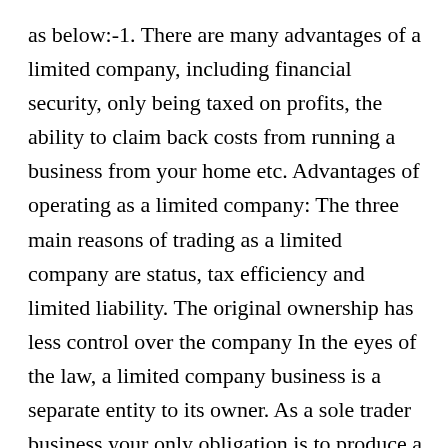as below:-1. There are many advantages of a limited company, including financial security, only being taxed on profits, the ability to claim back costs from running a business from your home etc. Advantages of operating as a limited company: The three main reasons of trading as a limited company are status, tax efficiency and limited liability. The original ownership has less control over the company In the eyes of the law, a limited company business is a separate entity to its owner. As a sole trader business your only obligation is to produce a set of sole trader accounts and file ... 7. A limited company director has the protection, should the